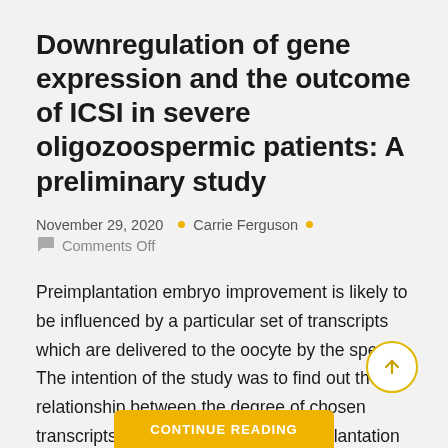Downregulation of gene expression and the outcome of ICSI in severe oligozoospermic patients: A preliminary study
November 29, 2020 • Carrie Ferguson • Comments Off
Preimplantation embryo improvement is likely to be influenced by a particular set of transcripts which are delivered to the oocyte by the sperm. The intention of the study was to find out the relationship between the degree of chosen transcripts in spermatozoa and preimplantation improvement of the embryos in {couples}…
CONTINUE READING